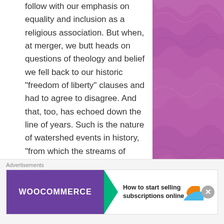follow with our emphasis on equality and inclusion as a religious association. But when, at merger, we butt heads on questions of theology and belief we fell back to our historic “freedom of liberty” clauses and had to agree to disagree. And that, too, has echoed down the line of years. Such is the nature of watershed events in history, “from which the streams of tomorrow take their way.”
Now, you who sit here listening
[Figure (other): Purple/violet crinkled paper or fibrous texture background on the right side of the page]
Advertisements
[Figure (other): WooCommerce advertisement banner: 'How to start selling subscriptions online']